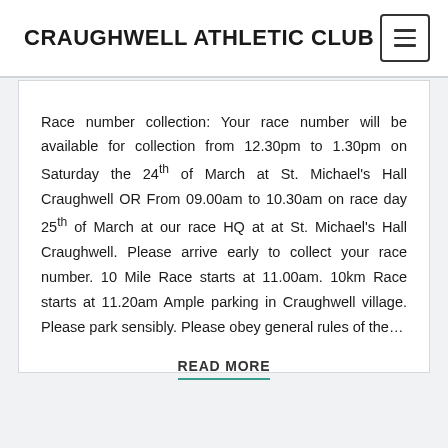CRAUGHWELL ATHLETIC CLUB
Race number collection: Your race number will be available for collection from 12.30pm to 1.30pm on Saturday the 24th of March at St. Michael's Hall Craughwell OR From 09.00am to 10.30am on race day 25th of March at our race HQ at at St. Michael's Hall Craughwell. Please arrive early to collect your race number. 10 Mile Race starts at 11.00am. 10km Race starts at 11.20am Ample parking in Craughwell village. Please park sensibly. Please obey general rules of the...
READ MORE